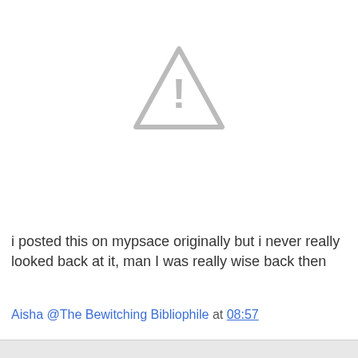[Figure (illustration): Warning triangle icon with exclamation mark, gray colored, image placeholder/broken image indicator]
i posted this on mypsace originally but i never really looked back at it, man I was really wise back then
Aisha @The Bewitching Bibliophile at 08:57
Share